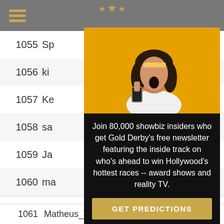[Figure (screenshot): Mobile website screenshot with a gray header bar containing a hamburger menu icon in gold, a decorative gold star motif at the top center, a leaderboard table with rows showing numbered entries with partial names and scores (1055-2130, 1056-2550, 1057-2333, 1058-2297, 1059-2059, 1060-2018, 1061 Matheus_Vaz 3/9 33.33% 1987), overlaid by a newsletter signup modal popup with a dark background, an image of a surprised woman on yellow background, promotional text, a gold GET PREDICTIONS button, and a No thanks link.]